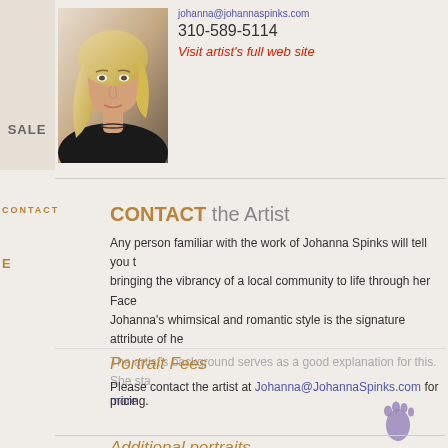[Figure (photo): Portrait photo of a blonde woman (Johanna Spinks)]
johanna@johannaspinks.com
310-589-5114
Visit artist's full web site
SALE
Contact the Artist
Any person familiar with the work of Johanna Spinks will tell you that bringing the vibrancy of a local community to life through her Face... Johanna's whimsical and romantic style is the signature attribute of he...
The artist's background serves as a good explanation for this. She sta... more
Portrait Fees
Please contact the artist at Johanna@JohannaSpinks.com for pricing.
Additional portraits